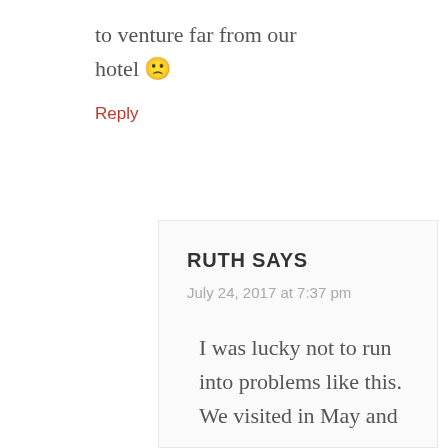to venture far from our hotel 🙁
Reply
RUTH SAYS
July 24, 2017 at 7:37 pm
I was lucky not to run into problems like this. We visited in May and